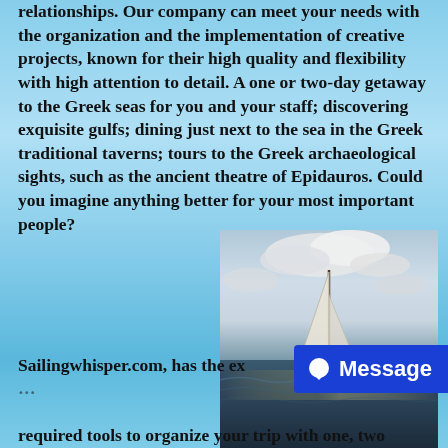relationships. Our company can meet your needs with the organization and the implementation of creative projects, known for their high quality and flexibility with high attention to detail. A one or two-day getaway to the Greek seas for you and your staff; discovering exquisite gulfs; dining just next to the sea in the Greek traditional taverns; tours to the Greek archaeological sights, such as the ancient theatre of Epidauros. Could you imagine anything better for your most important people?
[Figure (photo): A sailboat with white sails on rough dark sea water under a dramatic cloudy sky with moonlight reflecting on the water.]
Sailingwhisper.com, has the ex... required tools to organize your trip with one, two...